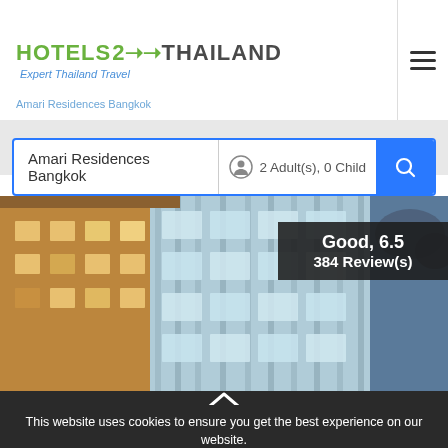[Figure (logo): Hotels 2 Thailand logo with tagline 'Expert Thailand Travel']
Amari Residences Bangkok
Amari Residences Bangkok   2 Adult(s), 0 Child
[Figure (photo): Hotel building exterior photo - Amari Residences Bangkok]
Good, 6.5 384 Review(s)
This website uses cookies to ensure you get the best experience on our website.
Got it!
Learn More